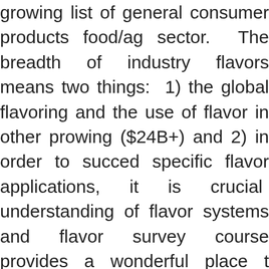growing list of general consumer products food/ag sector. The breadth of industry flavors means two things: 1) the global flavoring and the use of flavor in other products growing ($24B+) and 2) in order to succeed in specific flavor applications, it is crucial to have understanding of flavor systems and flavor science. survey course provides a wonderful place to build your basic flavor knowledge. This 2-day course covers a range of important flavor chemistry and technology topics. The main areas of focus will include basic flavor chemistry, flavors, flavor applications, flavor encapsulation, flavor characterization, flavor perception, and flavor generation/processing. Throughout all sections